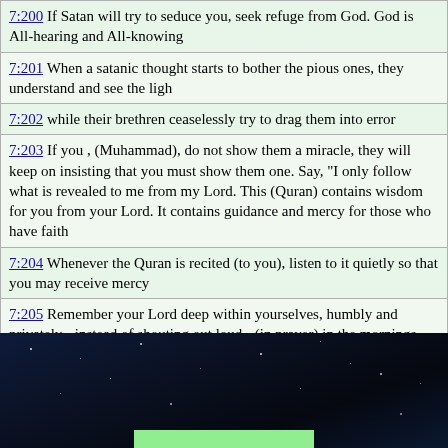7:200  If Satan will try to seduce you, seek refuge from God. God is All-hearing and All-knowing
7:201  When a satanic thought starts to bother the pious ones, they understand and see the ligh
7:202  while their brethren ceaselessly try to drag them into error
7:203  If you , (Muhammad), do not show them a miracle, they will keep on insisting that you must show them one. Say, "I only follow what is revealed to me from my Lord. This (Quran) contains wisdom for you from your Lord. It contains guidance and mercy for those who have faith
7:204  Whenever the Quran is recited (to you), listen to it quietly so that you may receive mercy
7:205  Remember your Lord deep within yourselves, humbly and privately - instead of shouting out loud - (in prayer) in the mornings and evenings and do not be of the heedless ones
7:206  Those who are near to your Lord do not disdain from worshipping Him. They glorify Him and prostrate themselves (in obedience to Him)
[Figure (photo): Dark night sky background with stars, and a green bar at the bottom]